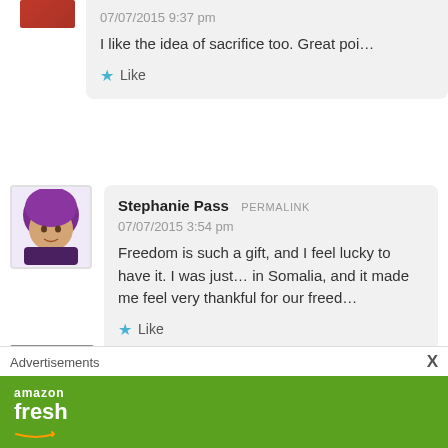07/07/2015 9:37 pm
I like the idea of sacrifice too. Great poi…
Like
Stephanie Pass PERMALINK
07/07/2015 3:54 pm
Freedom is such a gift, and I feel lucky to have it. I was just… in Somalia, and it made me feel very thankful for our freed…
Like
Elin@MirthandMotivation
Advertisements
amazon fresh